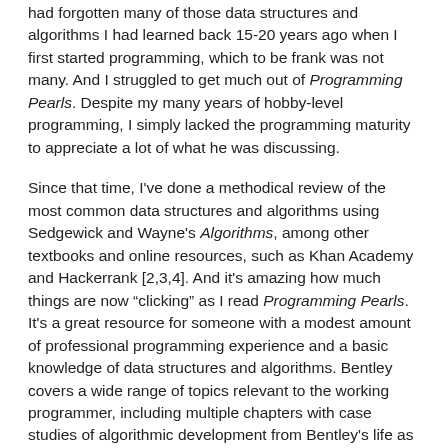had forgotten many of those data structures and algorithms I had learned back 15-20 years ago when I first started programming, which to be frank was not many. And I struggled to get much out of Programming Pearls. Despite my many years of hobby-level programming, I simply lacked the programming maturity to appreciate a lot of what he was discussing.
Since that time, I've done a methodical review of the most common data structures and algorithms using Sedgewick and Wayne's Algorithms, among other textbooks and online resources, such as Khan Academy and Hackerrank [2,3,4]. And it's amazing how much things are now “clicking” as I read Programming Pearls. It's a great resource for someone with a modest amount of professional programming experience and a basic knowledge of data structures and algorithms. Bentley covers a wide range of topics relevant to the working programmer, including multiple chapters with case studies of algorithmic development from Bentley's life as a professional developer, a chapter on the importance of choosing the right data structure(s) for your program, program performance/tuning, and finally a number of chapters that discuss specific algorithms